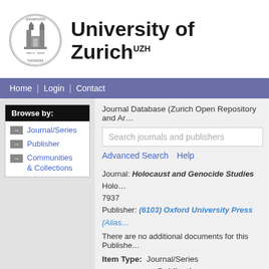[Figure (logo): University of Zurich circular seal/crest logo]
University of Zurich UZH
Home | Login | Contact
Browse by:
Journal/Series
Publisher
Communities & Collections
Journal Database (Zurich Open Repository and Ar...
Search journals and publishers
Advanced Search   Help
Journal: Holocaust and Genocide Studies Holo... 7937
Publisher: (6103) Oxford University Press (Alias...
There are no additional documents for this Publishe...
Item Type:  Journal/Series
Publication Type:  Journal